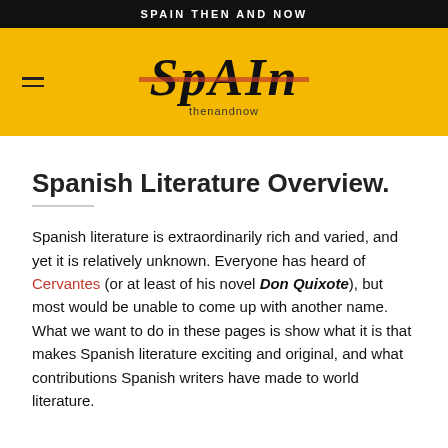SPAIN THEN AND NOW
[Figure (logo): Spain Then and Now website logo — stylized 'SPAIN' text with 'thenandnow' below, on a yellow/gold background]
Spanish Literature Overview.
Spanish literature is extraordinarily rich and varied, and yet it is relatively unknown. Everyone has heard of Cervantes (or at least of his novel Don Quixote), but most would be unable to come up with another name. What we want to do in these pages is show what it is that makes Spanish literature exciting and original, and what contributions Spanish writers have made to world literature.